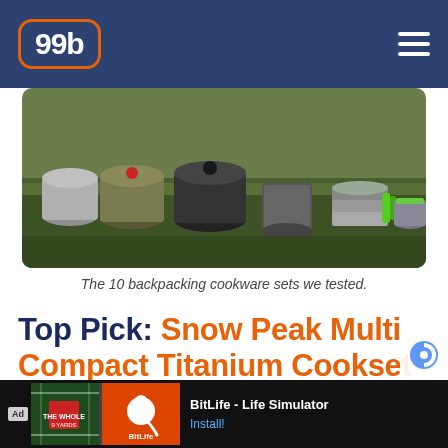99b
[Figure (photo): The 10 backpacking cookware sets arranged on grass, showing various titanium and aluminum pots and pans.]
The 10 backpacking cookware sets we tested.
Top Pick: Snow Peak Multi Compact Titanium Cookset
[Figure (photo): Partial view of Snow Peak cookware set on grass.]
[Figure (screenshot): Ad banner: BitLife - Life Simulator app advertisement with Install button.]